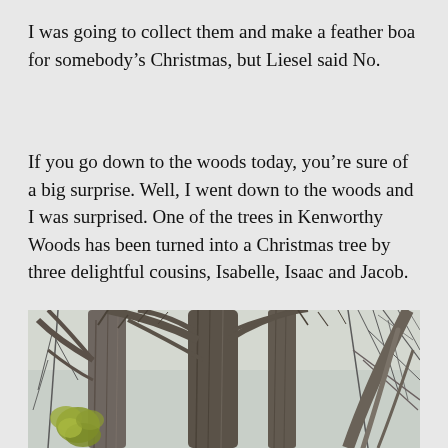I was going to collect them and make a feather boa for somebody's Christmas, but Liesel said No.
If you go down to the woods today, you're sure of a big surprise. Well, I went down to the woods and I was surprised. One of the trees in Kenworthy Woods has been turned into a Christmas tree by three delightful cousins, Isabelle, Isaac and Jacob.
[Figure (photo): A photograph of bare tree trunks and branches in a woodland setting (Kenworthy Woods), with some yellow-green early spring leaves visible near the base on the left side.]